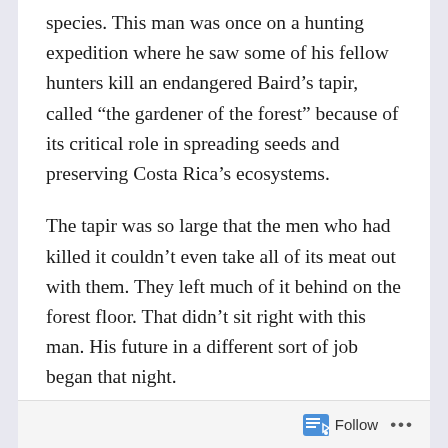species. This man was once on a hunting expedition where he saw some of his fellow hunters kill an endangered Baird’s tapir, called “the gardener of the forest” because of its critical role in spreading seeds and preserving Costa Rica’s ecosystems.
The tapir was so large that the men who had killed it couldn’t even take all of its meat out with them. They left much of it behind on the forest floor. That didn’t sit right with this man. His future in a different sort of job began that night.
Today, this man is doing work that helps people from all over the world get to know rural Costa Rica, understand its biodiversity, and maybe even – if they
Follow ...